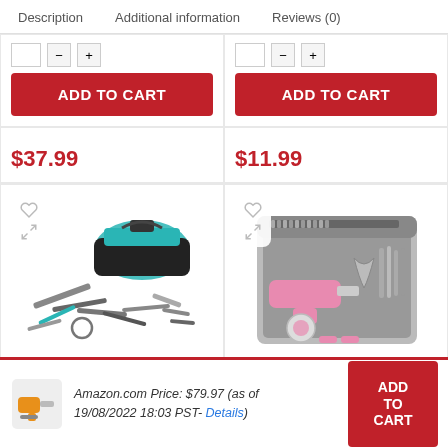Description   Additional information   Reviews (0)
ADD TO CART
ADD TO CART
$37.99
$11.99
[Figure (photo): Tool set with teal/black bag and various tools spread out]
[Figure (photo): Pink tool kit in a gray carrying case]
Amazon.com Price: $79.97 (as of 19/08/2022 18:03 PST- Details)
ADD TO CART